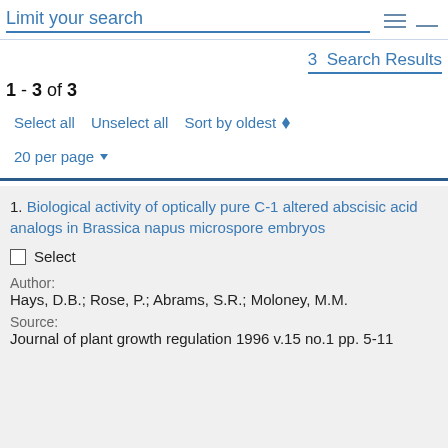Limit your search
3  Search Results
1 - 3 of 3
Select all   Unselect all   Sort by oldest
20 per page
1. Biological activity of optically pure C-1 altered abscisic acid analogs in Brassica napus microspore embryos
Select
Author:
Hays, D.B.; Rose, P.; Abrams, S.R.; Moloney, M.M.
Source:
Journal of plant growth regulation 1996 v.15 no.1 pp. 5-11